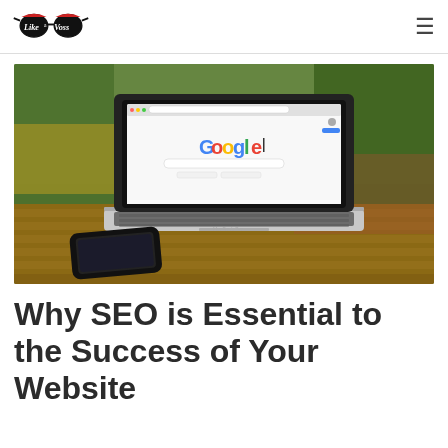Like a Voss [logo] [hamburger menu]
[Figure (photo): MacBook Pro laptop open on a wooden outdoor table showing the Google homepage, with a smartphone lying next to it. Background shows blurred greenery and flowers.]
Why SEO is Essential to the Success of Your Website